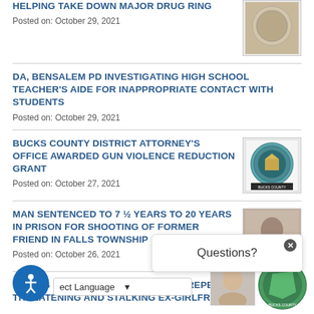HELPING TAKE DOWN MAJOR DRUG RING
Posted on: October 29, 2021
DA, BENSALEM PD INVESTIGATING HIGH SCHOOL TEACHER'S AIDE FOR INAPPROPRIATE CONTACT WITH STUDENTS
Posted on: October 29, 2021
BUCKS COUNTY DISTRICT ATTORNEY'S OFFICE AWARDED GUN VIOLENCE REDUCTION GRANT
Posted on: October 27, 2021
MAN SENTENCED TO 7 ½ YEARS TO 20 YEARS IN PRISON FOR SHOOTING OF FORMER FRIEND IN FALLS TOWNSHIP
Posted on: October 26, 2021
... TO 16 ½ YEARS TO 35 YEARS FOR REPEATEDLY THREATENING AND STALKING EX-GIRLFRIEND